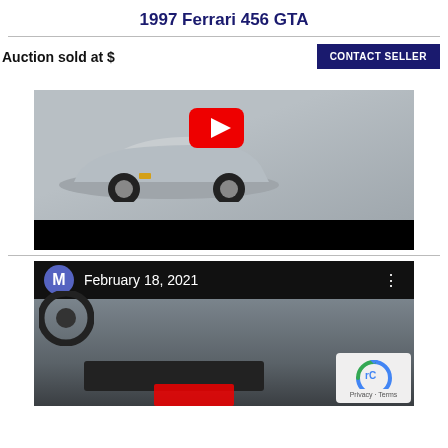1997 Ferrari 456 GTA
Auction sold at $
CONTACT SELLER
[Figure (photo): Video thumbnail of a silver Ferrari 456 GTA low-angle front shot with YouTube play button overlay and black title bar below]
[Figure (photo): Video thumbnail showing interior dashboard of Ferrari with date overlay February 18, 2021 and avatar initial M, with reCAPTCHA Privacy-Terms badge in bottom right]